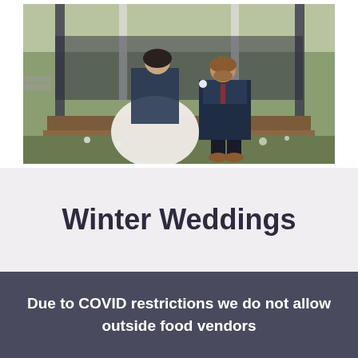[Figure (photo): A couple sitting on wooden steps outside a gazebo or pavilion. The woman wears a white gown and is wrapped in a navy blue shawl, and the man wears a navy blue suit with a burgundy tie. They are leaning close together as if about to kiss. The background shows garden plantings and white pillars.]
Winter Weddings
Due to COVID restrictions we do not allow outside food vendors